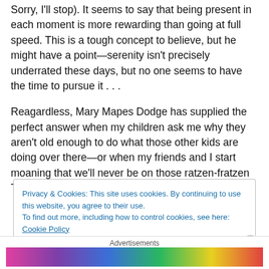Sorry, I'll stop). It seems to say that being present in each moment is more rewarding than going at full speed. This is a tough concept to believe, but he might have a point—serenity isn't precisely underrated these days, but no one seems to have the time to pursue it . . .
Reagardless, Mary Mapes Dodge has supplied the perfect answer when my children ask me why they aren't old enough to do what those other kids are doing over there—or when my friends and I start moaning that we'll never be on those ratzen-fratzen Thirty Under Thirty lists:
Privacy & Cookies: This site uses cookies. By continuing to use this website, you agree to their use.
To find out more, including how to control cookies, see here: Cookie Policy
Close and accept
Advertisements